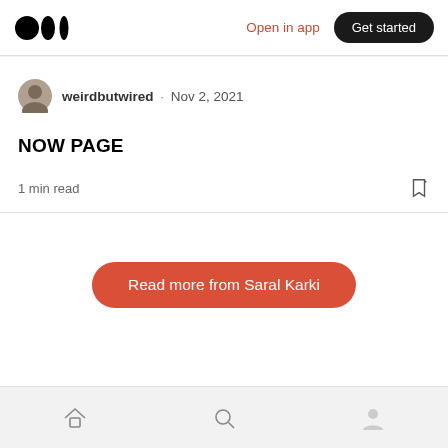Medium logo · Open in app · Get started
weirdbutwired · Nov 2, 2021
NOW PAGE
1 min read
Read more from Saral Karki
Home · Search · Profile